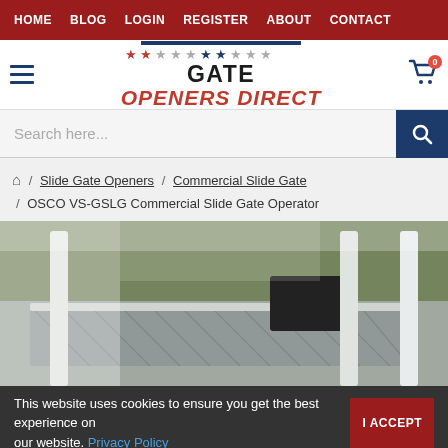HOME  BLOG  LOGIN  REGISTER  ABOUT  CONTACT
[Figure (logo): Gate Openers Direct logo with stars in red, white and blue above 'GATE OPENERS DIRECT' text]
Search here...
Home / Slide Gate Openers / Commercial Slide Gate / OSCO VS-GSLG Commercial Slide Gate Operator
[Figure (photo): Product photo showing OSCO VS-GSLG Commercial Slide Gate Operator installed on a chain-link fence with vegetation in the background]
This website uses cookies to ensure you get the best experience on our website. Privacy Policy
I ACCEPT